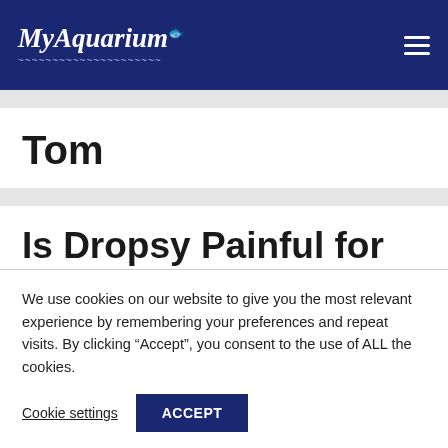MyAquarium
Tom
Is Dropsy Painful for
We use cookies on our website to give you the most relevant experience by remembering your preferences and repeat visits. By clicking “Accept”, you consent to the use of ALL the cookies.
Cookie settings  ACCEPT